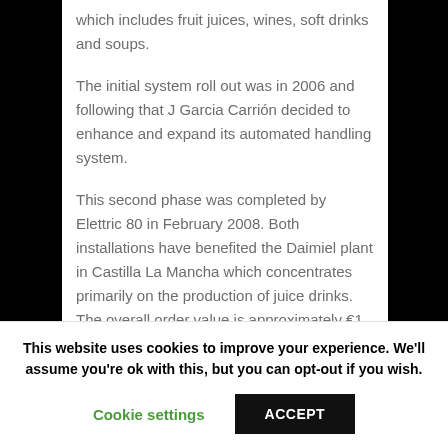which includes fruit juices, wines, soft drinks and soups.
The initial system roll out was in 2006 and following that J Garcia Carrión decided to enhance and expand its automated handling system.
This second phase was completed by Elettric 80 in February 2008. Both installations have benefited the Daimiel plant in Castilla La Mancha which concentrates primarily on the production of juice drinks. The overall order value is approximately €1 million.
This website uses cookies to improve your experience. We'll assume you're ok with this, but you can opt-out if you wish.